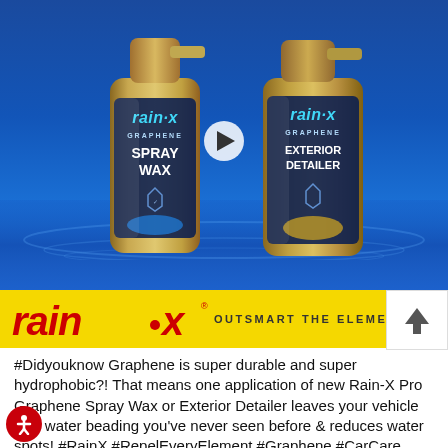[Figure (photo): Two Rain-X Pro Graphene product bottles (Spray Wax and Exterior Detailer) in gold/dark packaging on a blue reflective wet surface with a video play button overlay]
[Figure (logo): Rain-X logo (red italic bold text with dot) on yellow banner with tagline OUTSMART THE ELEMENTS and a share/arrow-up button]
#Didyouknow Graphene is super durable and super hydrophobic?! That means one application of new Rain-X Pro Graphene Spray Wax or Exterior Detailer leaves your vehicle with water beading you've never seen before & reduces water spots! #RainX #RepelEveryElement #Graphene #CarCare